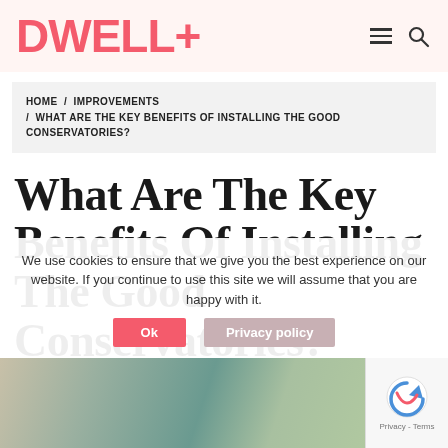DWELL+
HOME / IMPROVEMENTS / WHAT ARE THE KEY BENEFITS OF INSTALLING THE GOOD CONSERVATORIES?
What Are The Key Benefits Of Installing The Good Conservatories?
PUBLISHED ON MARCH 8, 2019   BY JESSE SEMMENS
We use cookies to ensure that we give you the best experience on our website. If you continue to use this site we will assume that you are happy with it.
[Figure (photo): Partial view of a conservatory/extension on a house, visible at the bottom of the page]